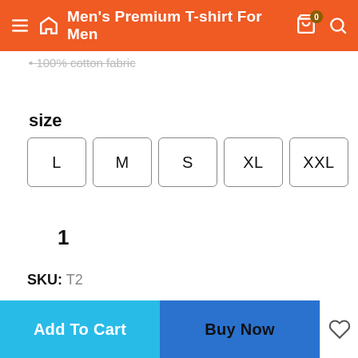Men's Premium T-shirt For Men
100% cotton fabric
size
L  M  S  XL  XXL
1
SKU: T2
Category: T-shirt